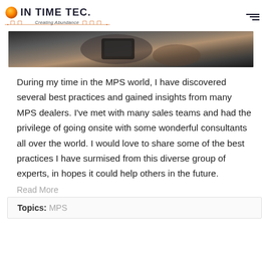IN TIME TEC - Creating Abundance
[Figure (photo): Close-up photo of a person holding a smartphone/mobile device]
During my time in the MPS world, I have discovered several best practices and gained insights from many MPS dealers. I've met with many sales teams and had the privilege of going onsite with some wonderful consultants all over the world. I would love to share some of the best practices I have surmised from this diverse group of experts, in hopes it could help others in the future.
Read More
Topics: MPS